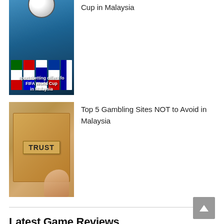[Figure (photo): FIFA World Cup sports betting promotional image with international flags and a soccer ball, text overlay reading 'sportsbetting offers for FIFA World Cup in Malaysia']
sportsbetting offers for FIFA World Cup in Malaysia
[Figure (photo): Hand holding a cardboard sign with the word TRUST stamped on it against a cardboard box background]
Top 5 Gambling Sites NOT to Avoid in Malaysia
Latest Game Reviews
[Figure (photo): Mancala Gaming Zero Day slot game promotional artwork with fantasy characters and purple winged logo on dark background]
Mancala Gaming – Zero Day Slot Game Review